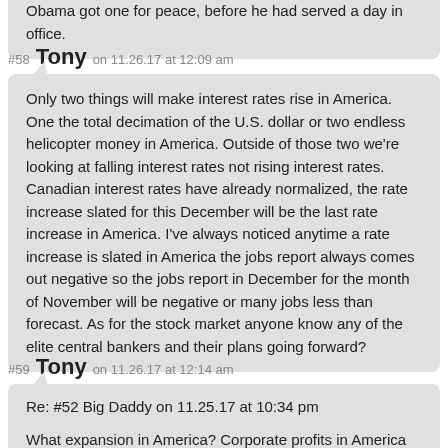Obama got one for peace, before he had served a day in office.
#58 Tony on 11.26.17 at 12:09 am
Only two things will make interest rates rise in America. One the total decimation of the U.S. dollar or two endless helicopter money in America. Outside of those two we’re looking at falling interest rates not rising interest rates. Canadian interest rates have already normalized, the rate increase slated for this December will be the last rate increase in America. I’ve always noticed anytime a rate increase is slated in America the jobs report always comes out negative so the jobs report in December for the month of November will be negative or many jobs less than forecast. As for the stock market anyone know any of the elite central bankers and their plans going forward?
#59 Tony on 11.26.17 at 12:14 am
Re: #52 Big Daddy on 11.25.17 at 10:34 pm
What expansion in America? Corporate profits in America have been